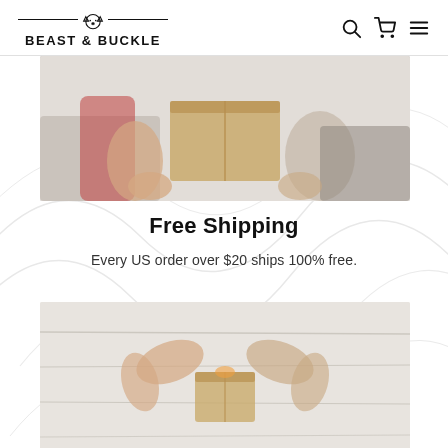Beast & Buckle — navigation bar with logo, search, cart, and menu icons
[Figure (photo): Two people exchanging or handling a package/box, hands visible, faded/light toned photo]
Free Shipping
Every US order over $20 ships 100% free.
[Figure (photo): Person holding or presenting a small gift/package on a light wooden surface, hands visible from above, faded/light toned photo]